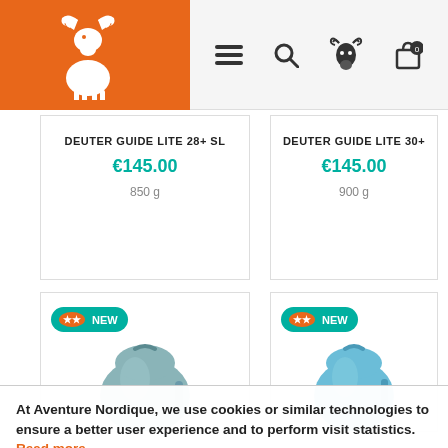[Figure (logo): Aventure Nordique logo with moose/deer on orange background]
[Figure (screenshot): Navigation icons: hamburger menu, search, deer head, shopping bag with 0]
DEUTER GUIDE LITE 28+ SL
€145.00
850 g
DEUTER GUIDE LITE 30+
€145.00
900 g
[Figure (photo): Blue-grey backpack with NEW badge]
[Figure (photo): Light blue backpack with NEW badge]
At Aventure Nordique, we use cookies or similar technologies to ensure a better user experience and to perform visit statistics. Read more
Google Reviews is disabled.
Allow
✕ DENY ALL COOKIES
PERSONALIZE